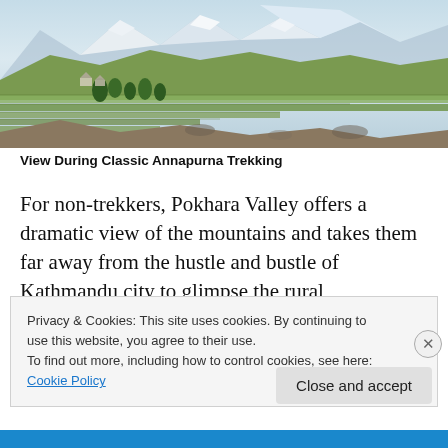[Figure (photo): Terraced hillside with green fields, trees, and snow-capped mountain peaks in background — view during Classic Annapurna Trekking]
View During Classic Annapurna Trekking
For non-trekkers, Pokhara Valley offers a dramatic view of the mountains and takes them far away from the hustle and bustle of Kathmandu city to glimpse the rural
Privacy & Cookies: This site uses cookies. By continuing to use this website, you agree to their use.
To find out more, including how to control cookies, see here: Cookie Policy
Close and accept